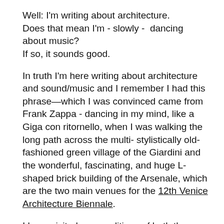Well: I'm writing about architecture. Does that mean I'm - slowly -  dancing about music?
If so, it sounds good.
In truth I'm here writing about architecture and sound/music and I remember I had this phrase—which I was convinced came from Frank Zappa - dancing in my mind, like a Giga con ritornello, when I was walking the long path across the multi-stylistically old-fashioned green village of the Giardini and the wonderful, fascinating, and huge L-shaped brick building of the Arsenale, which are the two main venues for the 12th Venice Architecture Biennale.
I have visited many editions of both the Architecture Biennale and the Art Biennale exhibitions over the years, and I definitely prefer the architectural biennial to the art biennial: I found it